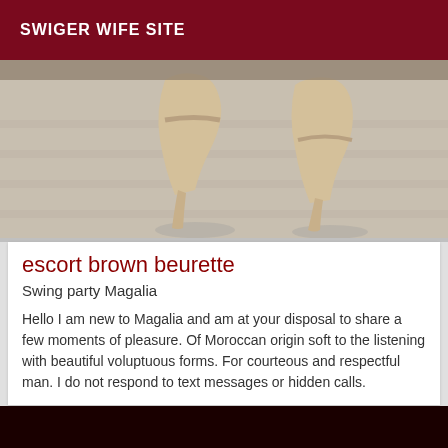SWIGER WIFE SITE
[Figure (photo): Close-up photo of two feet wearing high heel shoes on a light wood floor]
escort brown beurette
Swing party Magalia
Hello I am new to Magalia and am at your disposal to share a few moments of pleasure. Of Moroccan origin soft to the listening with beautiful voluptuous forms. For courteous and respectful man. I do not respond to text messages or hidden calls.